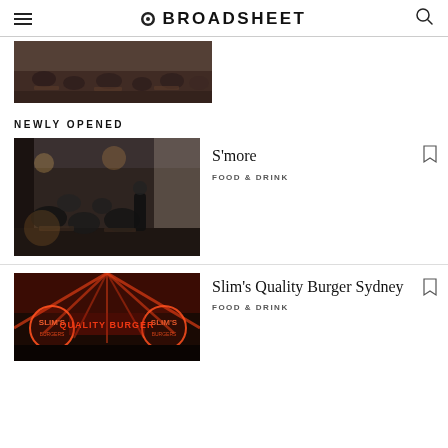BROADSHEET
[Figure (photo): Restaurant interior with diners seated at tables, warm lighting, viewed from above]
NEWLY OPENED
[Figure (photo): Restaurant interior with people dining, dim warm lighting, dark furnishings]
S'more
FOOD & DRINK
[Figure (photo): Restaurant exterior with neon sign 'Slim's' and red illuminated ceiling]
Slim's Quality Burger Sydney
FOOD & DRINK